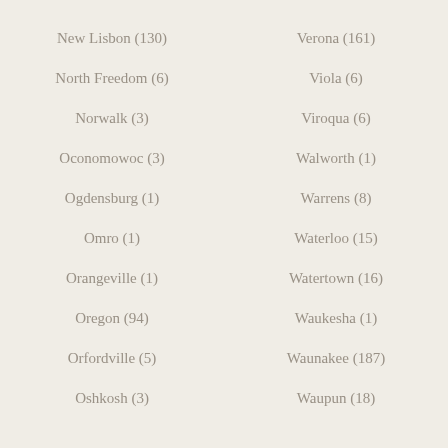New Lisbon (130)
Verona (161)
North Freedom (6)
Viola (6)
Norwalk (3)
Viroqua (6)
Oconomowoc (3)
Walworth (1)
Ogdensburg (1)
Warrens (8)
Omro (1)
Waterloo (15)
Orangeville (1)
Watertown (16)
Oregon (94)
Waukesha (1)
Orfordville (5)
Waunakee (187)
Oshkosh (3)
Waupun (18)